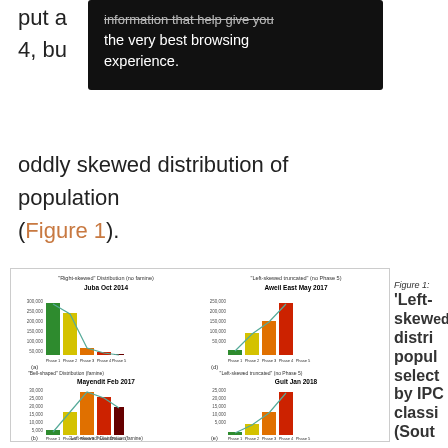put a... 4, bu...
information that help give you the very best browsing experience.
oddly skewed distribution of population (Figure 1).
[Figure (bar-chart): Four bar charts showing different IPC food security phase distributions: (a) Juba Oct 2014 right-skewed no famine, (b) Mayendit Feb 2017 bell-shaped famine, (d) Aweil East May 2017 left-skewed truncated no Phase 5, (e) Guit Jan 2018 left-skewed truncated no Phase 5, and partial charts (b) and (e) at bottom. Each chart shows Phase 1-5 bars in green, yellow, orange, red, dark red colors with population values on y-axis.]
Figure 1: 'Left-skewed distribution of population selected by IPC classification (South...